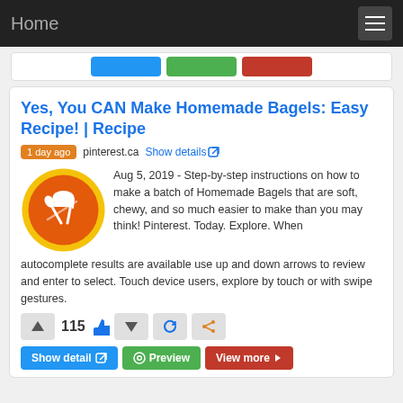Home
Yes, You CAN Make Homemade Bagels: Easy Recipe! | Recipe
1 day ago  pinterest.ca  Show details
Aug 5, 2019 - Step-by-step instructions on how to make a batch of Homemade Bagels that are soft, chewy, and so much easier to make than you may think! Pinterest. Today. Explore. When autocomplete results are available use up and down arrows to review and enter to select. Touch device users, explore by touch or with swipe gestures.
115